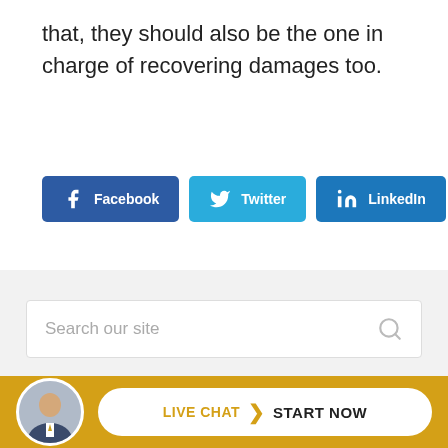that, they should also be the one in charge of recovering damages too.
[Figure (screenshot): Three social share buttons: Facebook (dark blue), Twitter (light blue), LinkedIn (medium blue)]
[Figure (screenshot): Search box with placeholder text 'Search our site' and a search icon on the right, on a grey sidebar background]
Categories
[Figure (screenshot): Live chat bar at the bottom with a circular avatar photo of a man in a suit, and a white pill-shaped button reading 'LIVE CHAT > START NOW' on a gold/yellow background]